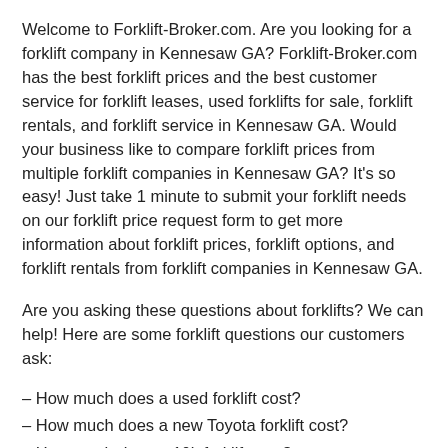Welcome to Forklift-Broker.com. Are you looking for a forklift company in Kennesaw GA? Forklift-Broker.com has the best forklift prices and the best customer service for forklift leases, used forklifts for sale, forklift rentals, and forklift service in Kennesaw GA. Would your business like to compare forklift prices from multiple forklift companies in Kennesaw GA? It's so easy! Just take 1 minute to submit your forklift needs on our forklift price request form to get more information about forklift prices, forklift options, and forklift rentals from forklift companies in Kennesaw GA.
Are you asking these questions about forklifts? We can help! Here are some forklift questions our customers ask:
– How much does a used forklift cost?
– How much does a new Toyota forklift cost?
– How much does a 10k forklift cost?